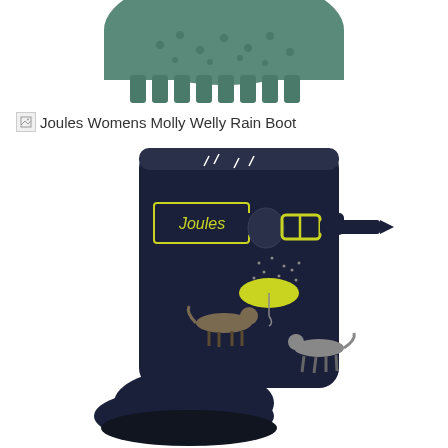[Figure (photo): Top portion of a teal/green rubber boot sole viewed from above, showing the tread pattern with ridges and studs]
Joules Womens Molly Welly Rain Boot
[Figure (photo): Joules Womens Molly Welly Rain Boot in navy blue with a dog and umbrella print pattern, featuring a yellow buckle strap detail and Joules branding label on the side]